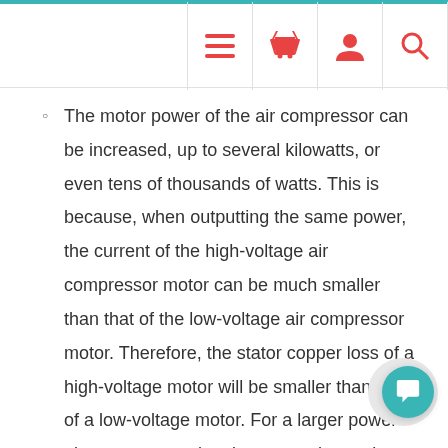navigation header with menu, basket, user, and search icons
The motor power of the air compressor can be increased, up to several kilowatts, or even tens of thousands of watts. This is because, when outputting the same power, the current of the high-voltage air compressor motor can be much smaller than that of the low-voltage air compressor motor. Therefore, the stator copper loss of a high-voltage motor will be smaller than that of a low-voltage motor. For a larger power air compressor electric motor, when using low-voltage electricity, because of the need for a thicker wire and a larger area of the stator slot, the diameter of the stator core will also be large.